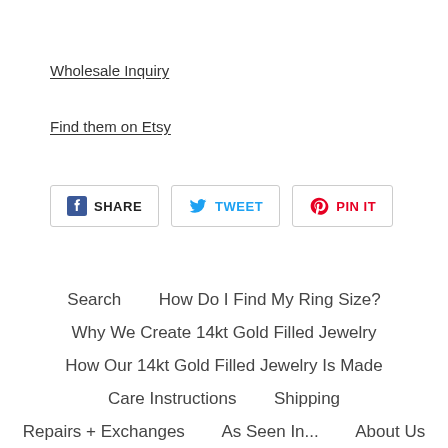Wholesale Inquiry
Find them on Etsy
SHARE   TWEET   PIN IT
Search   How Do I Find My Ring Size?   Why We Create 14kt Gold Filled Jewelry   How Our 14kt Gold Filled Jewelry Is Made   Care Instructions   Shipping   Repairs + Exchanges   As Seen In...   About Us